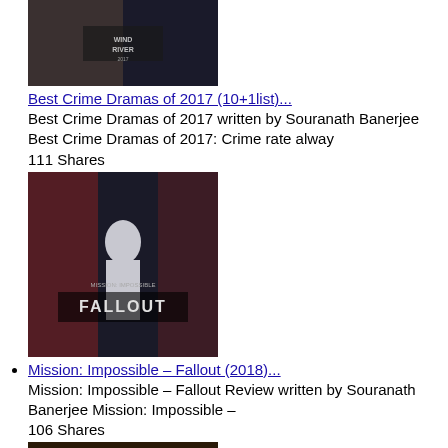[Figure (photo): Movie poster for Wind River crime drama]
Best Crime Dramas of 2017 (10+1list)...
Best Crime Dramas of 2017 written by Souranath Banerjee Best Crime Dramas of 2017: Crime rate alway
111 Shares
[Figure (photo): Movie poster for Mission Impossible Fallout]
Mission: Impossible – Fallout (2018)...
Mission: Impossible – Fallout Review written by Souranath Banerjee Mission: Impossible –
106 Shares
[Figure (photo): Movie still from The Window 2017]
The Window Review...
The Window (2017) written by Souranath Banerjee The Window Review: The eternal agony, anguish, a
102 Shares
[Figure (photo): Movie still partially visible at bottom]